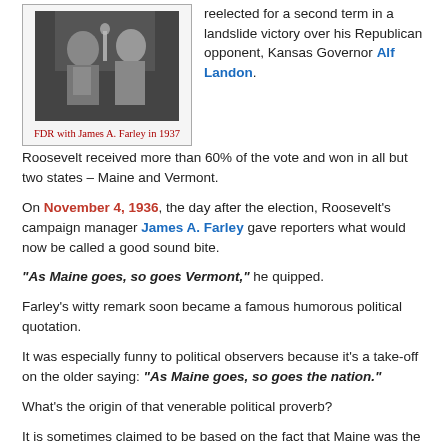[Figure (photo): Black and white photograph of FDR with James A. Farley in 1937, two men at what appears to be a podium or table]
FDR with James A. Farley in 1937
reelected for a second term in a landslide victory over his Republican opponent, Kansas Governor Alf Landon.
Roosevelt received more than 60% of the vote and won in all but two states – Maine and Vermont.
On November 4, 1936, the day after the election, Roosevelt's campaign manager James A. Farley gave reporters what would now be called a good sound bite.
“As Maine goes, so goes Vermont,” he quipped.
Farley's witty remark soon became a famous humorous political quotation.
It was especially funny to political observers because it's a take-off on the older saying: “As Maine goes, so goes the nation.”
What’s the origin of that venerable political proverb?
It is sometimes claimed to be based on the fact that Maine was the first state to enact a law prohibiting alcohol in 1851.